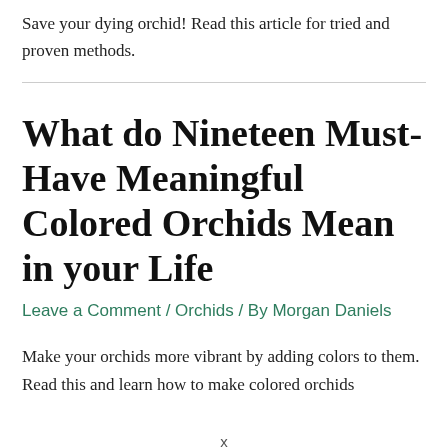Save your dying orchid! Read this article for tried and proven methods.
What do Nineteen Must-Have Meaningful Colored Orchids Mean in your Life
Leave a Comment / Orchids / By Morgan Daniels
Make your orchids more vibrant by adding colors to them. Read this and learn how to make colored orchids